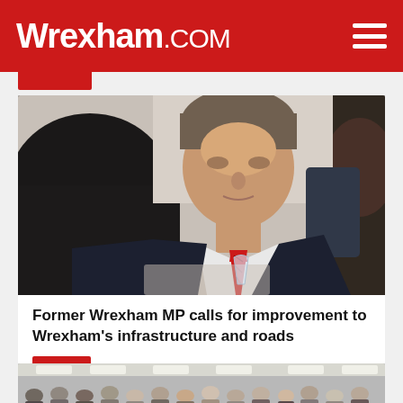Wrexham.COM
[Figure (photo): Middle-aged man in dark suit with red patterned tie, sitting at a table, photographed at a meeting or event]
Former Wrexham MP calls for improvement to Wrexham's infrastructure and roads
News
[Figure (photo): Group photo of people standing in a room with ceiling lights, appearing to be an office or community group setting]